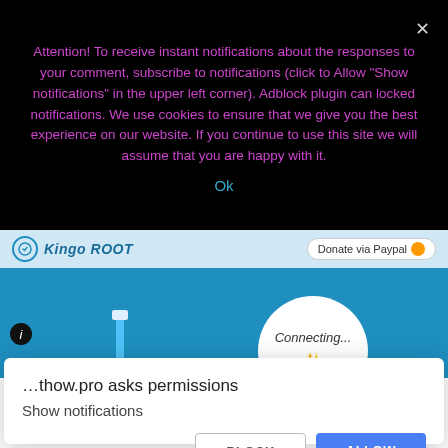Attention! To receive instant notifications about the responses to your comment, subscribe to notifications (click to Allow "Show notifications" in the upper left corner). Adblock plugin can locked notifications. We use cookies to ensure that we give you the best experience on our website. If you continue to use this site we will assume that you are happy with it.
Ok
[Figure (screenshot): Kingo ROOT application screenshot showing 'Connecting...' state with USB cable graphic on a blue background]
…thow.pro asks permissions
Show notifications
BLOCK
ALLOW